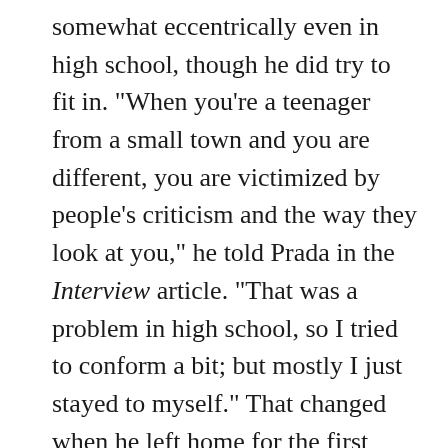somewhat eccentrically even in high school, though he did try to fit in. "When you're a teenager from a small town and you are different, you are victimized by people's criticism and the way they look at you," he told Prada in the Interview article. "That was a problem in high school, so I tried to conform a bit; but mostly I just stayed to myself." That changed when he left home for the first time and moved to Providence, Rhode Island, to attend Brown University. He had won a scholarship to the Ivy League school, and planned on a career as French teacher, just like his junior high role model. He also befriended a raft of